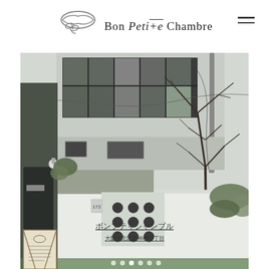Bon Petite Chambre
[Figure (photo): Exterior photograph of a building with large black-framed windows on upper floor, a white wall with circular embossed dots arranged in a 3x3 grid, a black door on the left, bare tree branches, and green shrubs. The building number 173 is visible. Japanese text overlay on the white wall reads underlined characters. A sandwich board sign sits in the lower left.]